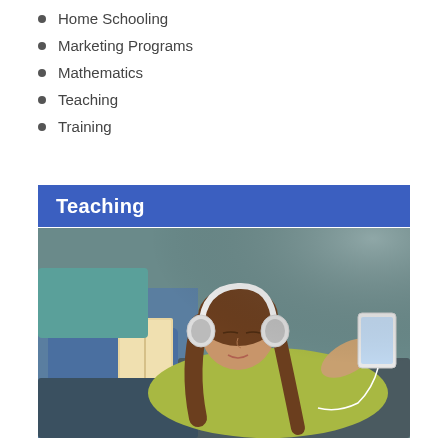Home Schooling
Marketing Programs
Mathematics
Teaching
Training
Teaching
[Figure (photo): A young girl with white headphones lying on a couch, holding a tablet device. An adult sits nearby reading a book. The girl is wearing a yellow-green top and appears to be listening to something with eyes closed.]